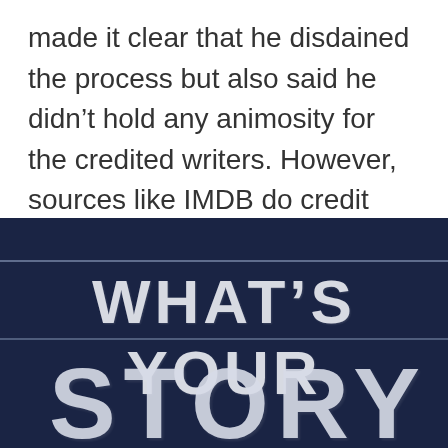made it clear that he disdained the process but also said he didn't hold any animosity for the credited writers. However, sources like IMDB do credit Trevorrow with a “screenplay by” credit.
[Figure (photo): Dark navy blue chalkboard with chalk lettering reading 'WHAT'S YOUR STORY' in large white chalk-style uppercase letters, with faint horizontal chalk lines across the board.]